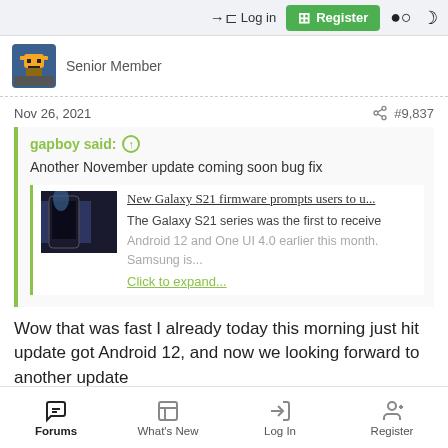Log in | Register
Senior Member
Nov 26, 2021  #9,837
gapboy said: Another November update coming soon bug fix
New Galaxy S21 firmware prompts users to u...
The Galaxy S21 series was the first to receive Android 12 and One UI 4.0 earlier this month. Samsung is...
Click to expand...
Wow that was fast I already today this morning just hit update got Android 12, and now we looking forward to another update
Forums  What's New  Log In  Register